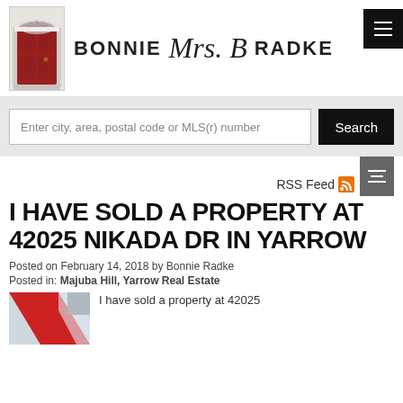BONNIE Mrs. B RADKE
Enter city, area, postal code or MLS(r) number
Search
RSS Feed
I HAVE SOLD A PROPERTY AT 42025 NIKADA DR IN YARROW
Posted on February 14, 2018 by Bonnie Radke
Posted in: Majuba Hill, Yarrow Real Estate
I have sold a property at 42025